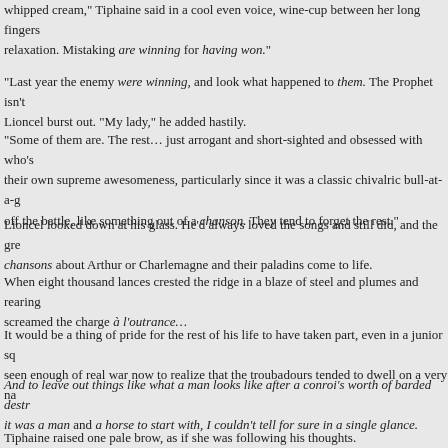we won the decisive battle at the Horse Heaven Hills, and Rudi killed Martin Thurston. whipped cream," Tiphaine said in a cool even voice, wine-cup between her long fingers relaxation. Mistaking are winning for having won."
"Last year the enemy were winning, and look what happened to them. The Prophet isn't Lioncel burst out. "My lady," he added hastily.
"Some of them are. The rest… just arrogant and short-sighted and obsessed with who's their own supreme awesomeness, particularly since it was a classic chivalric bull-at-a-g off the battle, like something out of a chanson. They tend to forget the rest."
Lioncel looked down at his glass. He'd always loved the songs and still did, and the gre chansons about Arthur or Charlemagne and their paladins come to life.
When eight thousand lances crested the ridge in a blaze of steel and plumes and rearing screamed the charge à l'outrance…
It would be a thing of pride for the rest of his life to have taken part, even in a junior sq seen enough of real war now to realize that the troubadours tended to dwell on a very na
And to leave out things like what a man looks like after a conroi's worth of barded destr it was a man and a horse to start with, I couldn't tell for sure in a single glance.
Tiphaine raised one pale brow, as if she was following his thoughts.